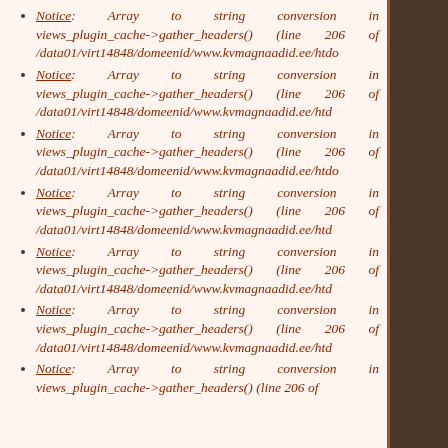Notice: Array to string conversion in views_plugin_cache->gather_headers() (line 206 of /data01/virt14848/domeenid/www.kvmagnaadid.ee/htdoc
Notice: Array to string conversion in views_plugin_cache->gather_headers() (line 206 of /data01/virt14848/domeenid/www.kvmagnaadid.ee/htdo
Notice: Array to string conversion in views_plugin_cache->gather_headers() (line 206 of /data01/virt14848/domeenid/www.kvmagnaadid.ee/htdo
Notice: Array to string conversion in views_plugin_cache->gather_headers() (line 206 of /data01/virt14848/domeenid/www.kvmagnaadid.ee/htd
Notice: Array to string conversion in views_plugin_cache->gather_headers() (line 206 of /data01/virt14848/domeenid/www.kvmagnaadid.ee/htd
Notice: Array to string conversion in views_plugin_cache->gather_headers() (line 206 of /data01/virt14848/domeenid/www.kvmagnaadid.ee/htd
Notice: Array to string conversion in views_plugin_cache->gather_headers() (line 206 of